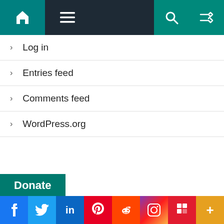Navigation bar with home, menu, search, and shuffle icons
Log in
Entries feed
Comments feed
WordPress.org
Donate
Help us to continue generating quality content and reliable website service.
[Figure (other): Donate button with PayPal and credit card payment icons (Visa, Mastercard, Maestro, Amex, Discover, and another card)]
Social media links: Facebook, Twitter, LinkedIn, Pinterest, Reddit, Instagram, Flipboard, More